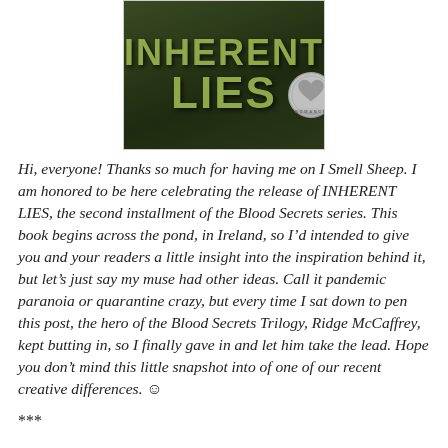[Figure (illustration): Book cover for 'INHERENT LIES' showing dark green/brown background with large stylized text 'INHERENT LIES' in olive/yellow-green color, and a silver badge/seal in the bottom right corner with a heart design.]
Hi, everyone! Thanks so much for having me on I Smell Sheep. I am honored to be here celebrating the release of INHERENT LIES, the second installment of the Blood Secrets series. This book begins across the pond, in Ireland, so I’d intended to give you and your readers a little insight into the inspiration behind it, but let’s just say my muse had other ideas. Call it pandemic paranoia or quarantine crazy, but every time I sat down to pen this post, the hero of the Blood Secrets Trilogy, Ridge McCaffrey, kept butting in, so I finally gave in and let him take the lead. Hope you don’t mind this little snapshot into of one of our recent creative differences. ☺
***